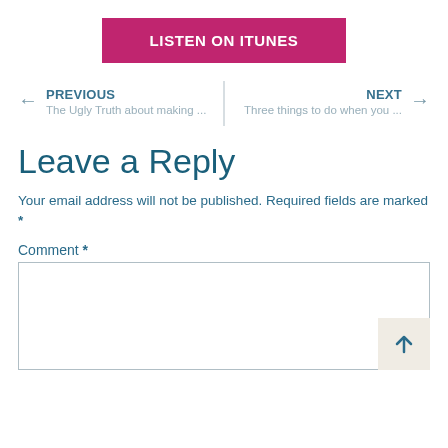[Figure (other): Pink/magenta button labeled LISTEN ON iTunes]
PREVIOUS
The Ugly Truth about making ...
NEXT
Three things to do when you ...
Leave a Reply
Your email address will not be published. Required fields are marked *
Comment *
[Figure (other): Empty comment text area input box]